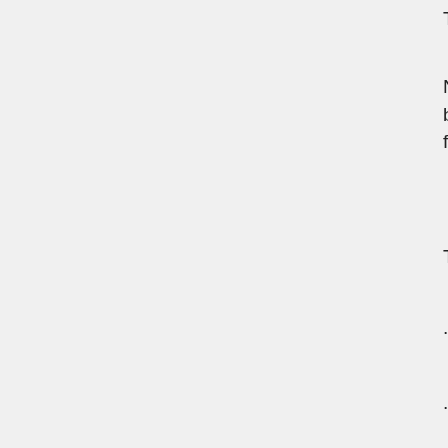The matter has been reported to t
NetSafe's incident statistics for the... by kiwis, which incurred a total los... frauds, privacy breaches, online t
There are a number of ways peop
· you don't know the sender
· it's addressed to 'My Dear' or so
· there are too many grammatical
· the email address is a public ser
· a bank that you don't have an ac
· you are urged to visit a website t information
· you're advised to act fast to clai entered
· you're told you've inherited mone